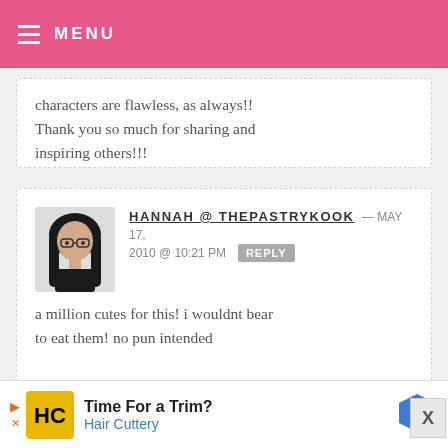MENU
characters are flawless, as always!! Thank you so much for sharing and inspiring others!!!
HANNAH @ THEPASTRYKOOK — MAY 17, 2010 @ 10:21 PM REPLY
a million cutes for this! i wouldnt bear to eat them! no pun intended